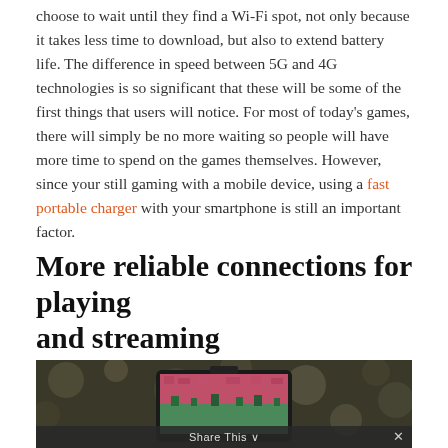choose to wait until they find a Wi-Fi spot, not only because it takes less time to download, but also to extend battery life. The difference in speed between 5G and 4G technologies is so significant that these will be some of the first things that users will notice. For most of today's games, there will simply be no more waiting so people will have more time to spend on the games themselves. However, since your still gaming with a mobile device, using a fast portable charger with your smartphone is still an important factor.
More reliable connections for playing and streaming
[Figure (photo): A person holding a smartphone displaying a mobile game with colorful pixel-art graphics, shown against a blurred bokeh background.]